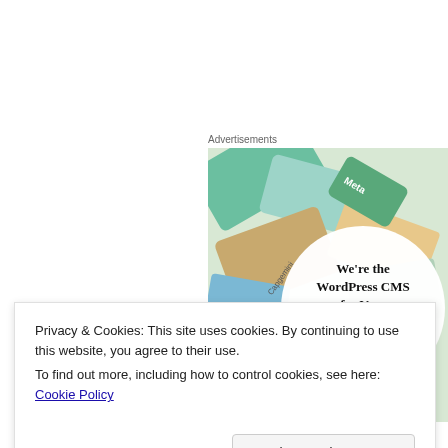[Figure (advertisement): WordPress VIP advertisement with colorful business cards/logos scattered and a circular text overlay reading 'We're the WordPress CMS for Very Important Content' with WordPress VIP branding. Above the image is an 'Advertisements' label.]
Privacy & Cookies: This site uses cookies. By continuing to use this website, you agree to their use.
To find out more, including how to control cookies, see here: Cookie Policy
Close and accept